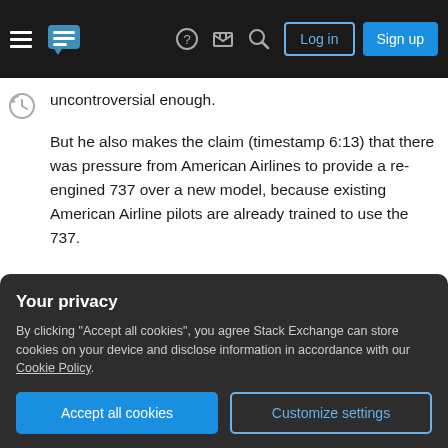Navigation bar with Stack Exchange logo, hamburger menu, help, inbox, search icons, Log in and Sign up buttons
uncontroversial enough.
But he also makes the claim (timestamp 6:13) that there was pressure from American Airlines to provide a re-engined 737 over a new model, because existing American Airline pilots are already trained to use the 737.
Pilots are generally trained to operate just one type of aircraft. Some fly the a380, some fly the 777, some fly the a320, and
Your privacy
By clicking "Accept all cookies", you agree Stack Exchange can store cookies on your device and disclose information in accordance with our Cookie Policy.
Accept all cookies
Customize settings
In general, pilots can and do switch